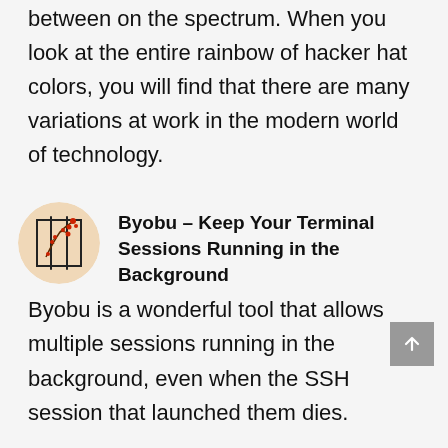between on the spectrum. When you look at the entire rainbow of hacker hat colors, you will find that there are many variations at work in the modern world of technology.
Byobu – Keep Your Terminal Sessions Running in the Background
Byobu is a wonderful tool that allows multiple sessions running in the background, even when the SSH session that launched them dies.
Exciting Updates Between CEH v9 and CEH v10